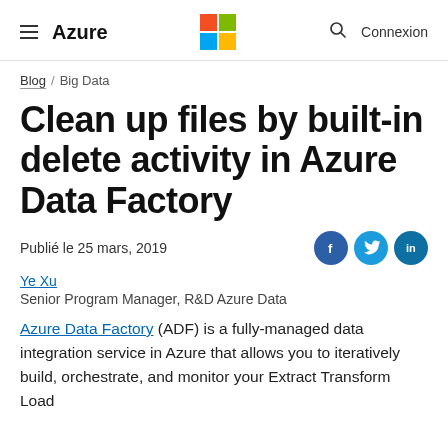≡ Azure | Microsoft Logo | 🔍 Connexion
Blog / Big Data
Clean up files by built-in delete activity in Azure Data Factory
Publié le 25 mars, 2019
Ye Xu
Senior Program Manager, R&D Azure Data
Azure Data Factory (ADF) is a fully-managed data integration service in Azure that allows you to iteratively build, orchestrate, and monitor your Extract Transform Load